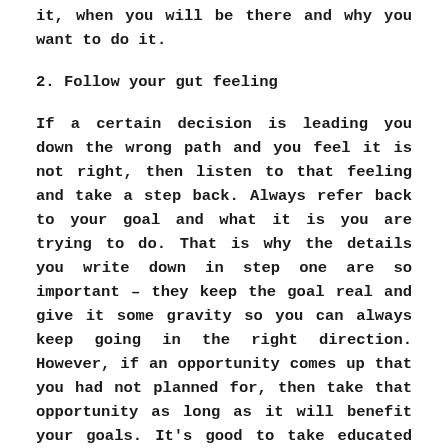it, when you will be there and why you want to do it.
2. Follow your gut feeling
If a certain decision is leading you down the wrong path and you feel it is not right, then listen to that feeling and take a step back. Always refer back to your goal and what it is you are trying to do. That is why the details you write down in step one are so important – they keep the goal real and give it some gravity so you can always keep going in the right direction. However, if an opportunity comes up that you had not planned for, then take that opportunity as long as it will benefit your goals. It's good to take educated risks, as they encourage progress.
3. Keep a positive mindset & be open